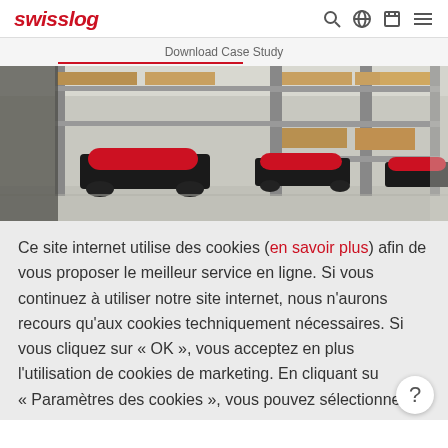swisslog
Download Case Study
[Figure (photo): Warehouse interior showing automated mobile robots (black and red) operating under shelving racks loaded with cardboard boxes.]
Ce site internet utilise des cookies (en savoir plus) afin de vous proposer le meilleur service en ligne. Si vous continuez à utiliser notre site internet, nous n'aurons recours qu'aux cookies techniquement nécessaires. Si vous cliquez sur « OK », vous acceptez en plus l'utilisation de cookies de marketing. En cliquant sur « Paramètres des cookies », vous pouvez sélectionner le